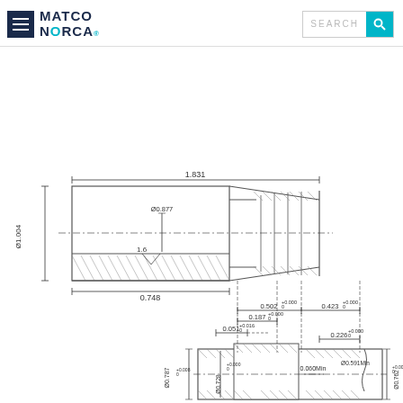MATCO NORCA - Search
[Figure (engineering-diagram): Technical engineering drawing of a pipe fitting/coupling shown in cross-section with detailed dimensions. Top view shows overall length 1.831, diameter Ø1.004, inner diameter Ø0.877, surface finish 1.6, and length 0.748. Bottom detail view shows dimensions: 0.502+0.000/0, 0.423+0.000/0, 0.187+0.000/0, 0.051+0.016/0, 0.226+0.000/0, Ø0.787+0.008/0, Ø0.728+0.000/0, 0.060Min, Ø0.591Min, Ø0.762+0.000/0.]